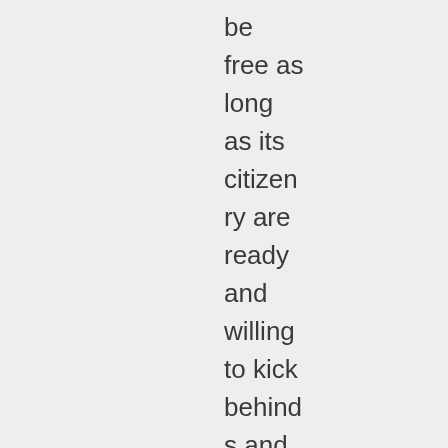be free as long as its citizenry are ready and willing to kick behinds and take names when the